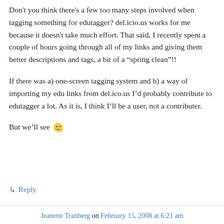Don't you think there's a few too many steps involved when tagging something for edutagger? del.icio.us works for me because it doesn't take much effort. That said, I recently spent a couple of hours going through all of my links and giving them better descriptions and tags, a bit of a “spring clean”!!
If there was a) one-screen tagging system and b) a way of importing my edu links from del.ico.us I’d probably contribute to edutagger a lot. As it is, I think I’ll be a user, not a contributer.
But we’ll see 🙂
↳ Reply
Jeanette Tranberg on February 15, 2008 at 6:21 am